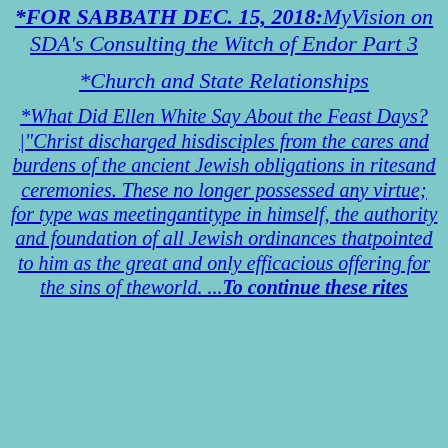*FOR SABBATH DEC. 15, 2018: MyVision on SDA's Consulting the Witch of Endor Part 3
*Church and State Relationships
*What Did Ellen White Say About the Feast Days? |"Christ discharged hisdisciples from the cares and burdens of the ancient Jewish obligations in ritesand ceremonies. These no longer possessed any virtue; for type was meetingantitype in himself, the authority and foundation of all Jewish ordinances thatpointed to him as the great and only efficacious offering for the sins of theworld. ...To continue these rites